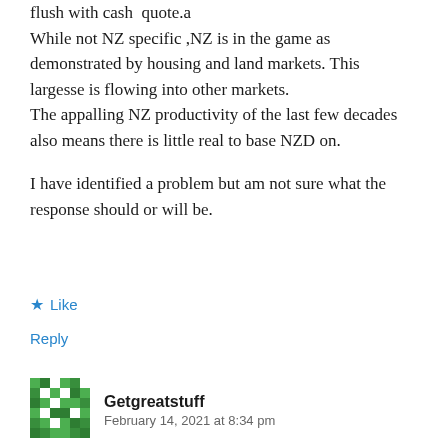flush with cash  quote.a While not NZ specific ,NZ is in the game as demonstrated by housing and land markets. This largesse is flowing into other markets. The appalling NZ productivity of the last few decades also means there is little real to base NZD on.
I have identified a problem but am not sure what the response should or will be.
Like
Reply
Getgreatstuff
February 14, 2021 at 8:34 pm